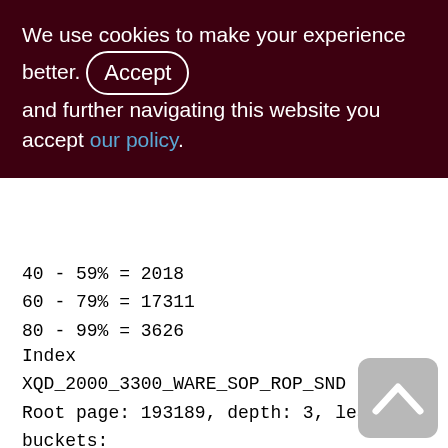We use cookies to make your experience better. By accepting and further navigating this website you accept our policy.
40 - 59% = 2018
60 - 79% = 17311
80 - 99% = 3626
Index XQD_2000_3300_WARE_SOP_ROP_SND (0)
Root page: 193189, depth: 3, leaf buckets: 2240, nodes: 1455661
Average node length: 5.53, total dup: 1381886, max dup: 49
Average key length: 2.56, compression ratio: 14.45
Average prefix length: 36.49, average data